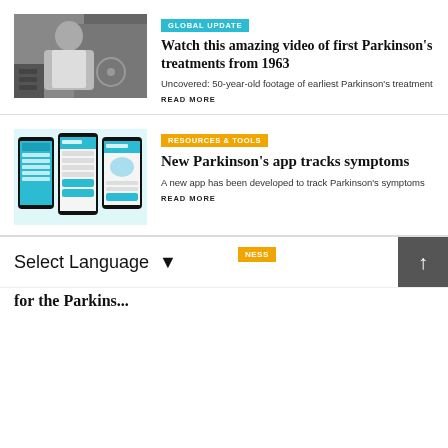[Figure (photo): Black and white photo of a man in a lab coat working in a laboratory with scientific equipment]
GLOBAL UPDATE
Watch this amazing video of first Parkinson's treatments from 1963
Uncovered: 50-year-old footage of earliest Parkinson's treatment
READ MORE
[Figure (screenshot): Screenshot of mobile app showing Parkinson's tracking application on three smartphones]
RESOURCES & TOOLS
New Parkinson's app tracks symptoms
A new app has been developed to track Parkinson's symptoms
READ MORE
Select Language
NESS